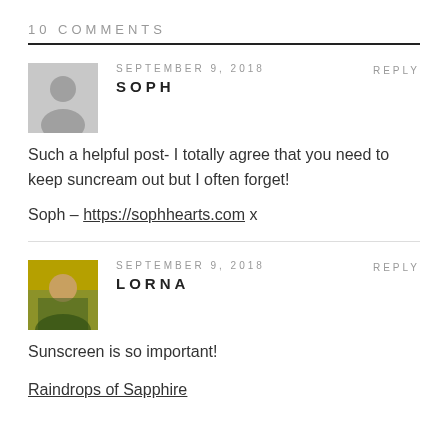10 COMMENTS
SEPTEMBER 9, 2018   REPLY
SOPH
Such a helpful post- I totally agree that you need to keep suncream out but I often forget!
Soph – https://sophhearts.com x
SEPTEMBER 9, 2018   REPLY
LORNA
Sunscreen is so important!
Raindrops of Sapphire